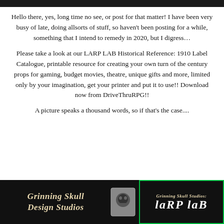Hello there, yes, long time no see, or post for that matter! I have been very busy of late, doing allsorts of stuff, so haven't been posting for a while, something that I intend to remedy in 2020, but I digress…
Please take a look at our LARP LAB Historical Reference: 1910 Label Catalogue, printable resource for creating your own turn of the century props for gaming, budget movies, theatre, unique gifts and more, limited only by your imagination, get your printer and put it to use!! Download now from DriveThruRPG!!
A picture speaks a thousand words, so if that's the case....
[Figure (logo): Grinning Skull Design Studios logo and LARP LAB branding on black background]